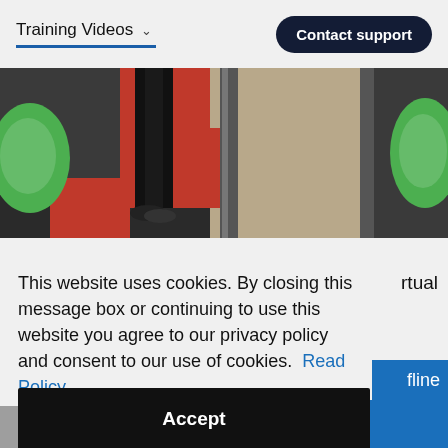Training Videos
Contact support
[Figure (photo): Photo showing a person's lower body standing on a colorful geometric-patterned carpet with red, black, and beige sections; green objects visible on sides]
rtual
This website uses cookies. By closing this message box or continuing to use this website you agree to our privacy policy and consent to our use of cookies.  Read Policy
Accept
fline